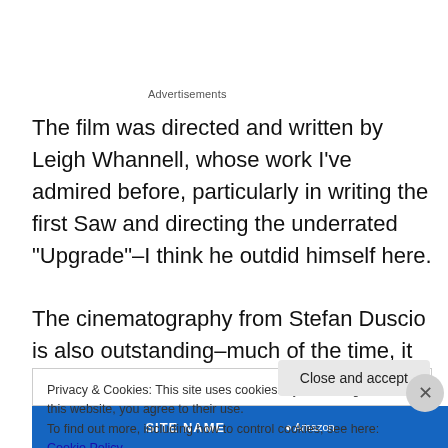Advertisements
The film was directed and written by Leigh Whannell, whose work I've admired before, particularly in writing the first Saw and directing the underrated “Upgrade”–I think he outdid himself here.

The cinematography from Stefan Duscio is also outstanding–much of the time, it feels very voyeuristic
Privacy & Cookies: This site uses cookies. By continuing to use this website, you agree to their use.
To find out more, including how to control cookies, see here: Cookie Policy
Close and accept